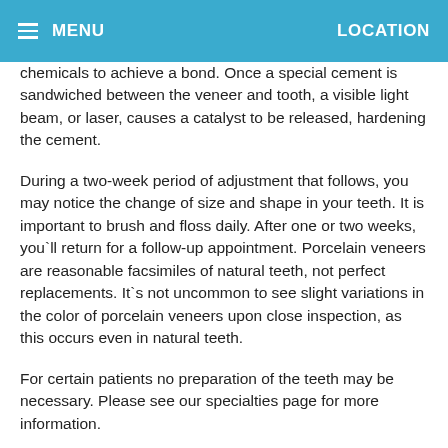MENU  LOCATION
chemicals to achieve a bond. Once a special cement is sandwiched between the veneer and tooth, a visible light beam, or laser, causes a catalyst to be released, hardening the cement.
During a two-week period of adjustment that follows, you may notice the change of size and shape in your teeth. It is important to brush and floss daily. After one or two weeks, you`ll return for a follow-up appointment. Porcelain veneers are reasonable facsimiles of natural teeth, not perfect replacements. It`s not uncommon to see slight variations in the color of porcelain veneers upon close inspection, as this occurs even in natural teeth.
For certain patients no preparation of the teeth may be necessary. Please see our specialties page for more information.